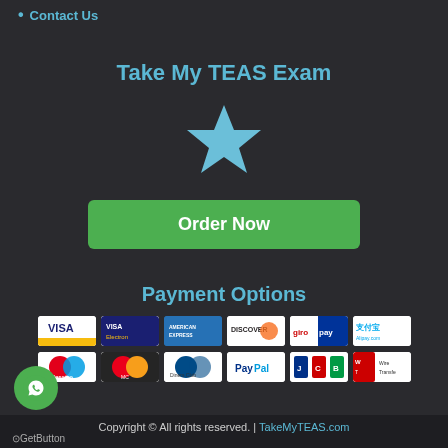Contact Us
Take My TEAS Exam
[Figure (illustration): Blue star icon]
Order Now
Payment Options
[Figure (illustration): Payment method icons: Visa, Visa Electron, American Express, Discover, GiroPay, Alipay, Maestro, MasterCard, Diners Club, PayPal, JCB, Wire Transfer]
Copyright © All rights reserved. | TakeMyTEAS.com
GetButton